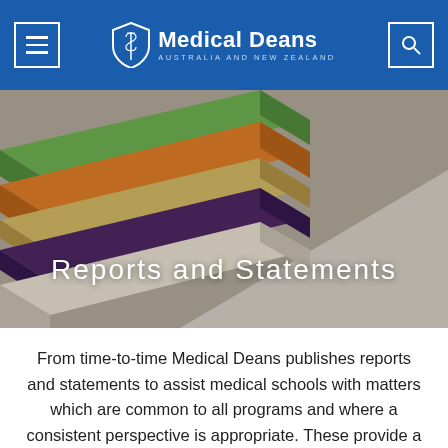Medical Deans Australia and New Zealand
[Figure (photo): Stack of colorful books (green, orange, yellow, purple) viewed from above on a desk surface, serving as hero/banner image]
Reports and Statements
From time-to-time Medical Deans publishes reports and statements to assist medical schools with matters which are common to all programs and where a consistent perspective is appropriate. These provide a framework for each medical school to tailor